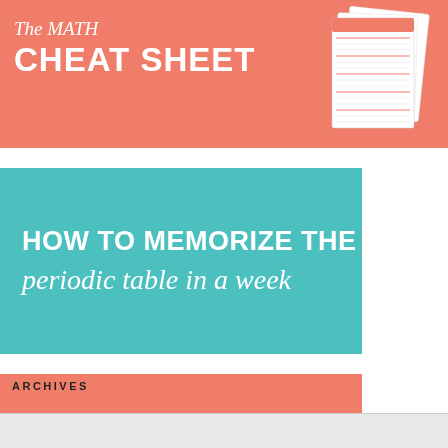[Figure (infographic): Salmon/coral colored banner with text 'The MATH CHEAT SHEET' and a preview image of printed cheat sheets on the right side]
[Figure (infographic): Teal colored banner with text 'HOW TO MEMORIZE THE periodic table in a week']
[Figure (infographic): Salmon/coral colored banner with text '100+ WAYS TO TEACH without a textbook']
ARCHIVES